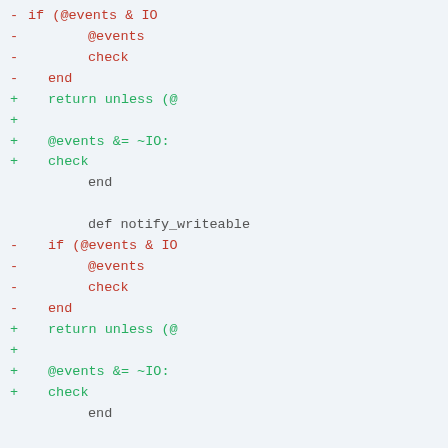Code diff showing notify_readable and notify_writeable method changes. Removed lines show if (@events & IO...), @events, check, end blocks. Added lines show return unless (@...), blank, @events &= ~IO:, check blocks. Two method definitions: def notify_writeable and def (partial at bottom).